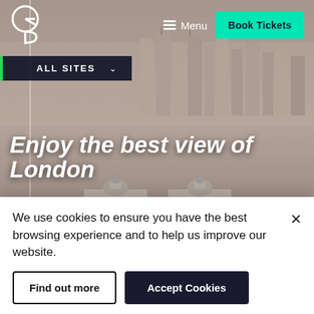[Figure (screenshot): Aerial photograph of Greenwich, London showing the Old Royal Naval College, Queen's House, and Canary Wharf skyline in the background at dusk/sunset]
Menu  Book Tickets
ALL SITES
Enjoy the best view of London
We use cookies to ensure you have the best browsing experience and to help us improve our website.
Find out more  Accept Cookies
Free